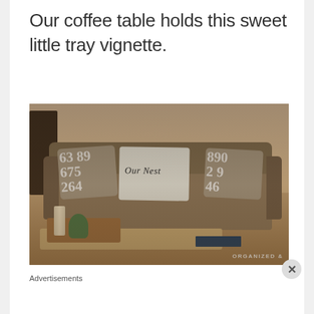Our coffee table holds this sweet little tray vignette.
[Figure (photo): Photo of a living room sofa with decorative pillows including numbered pillows and an 'Our Nest' pillow, with a coffee table tray vignette in the foreground containing a candle, plant, and books. Watermark reads 'ORGANIZED &'.]
Advertisements
[Figure (infographic): DuckDuckGo advertisement banner with orange/red background. Text reads: 'Search, browse, and email with more privacy. All in One Free App'. Shows a phone image with DuckDuckGo logo.]